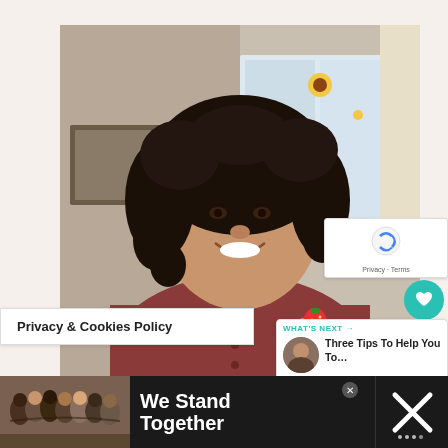[Figure (photo): Woman with curly hair smiling, holding a strawberry, wearing a dark red top, in a kitchen/home setting with a window behind her. A grid-paper background is visible behind the photo.]
Privacy & Cookies Policy
[Figure (logo): Google reCAPTCHA badge with blue/grey arrow logo and 'Privacy · Terms' text below]
[Figure (illustration): Teal circle with white heart icon (like button)]
1
[Figure (illustration): Share button circle with share icon]
WHAT'S NEXT →
Three Tips To Help You To…
[Figure (photo): Ad banner: group of people from behind with arms around each other. Text says 'We Stand Together'. Dark background with X logo on right.]